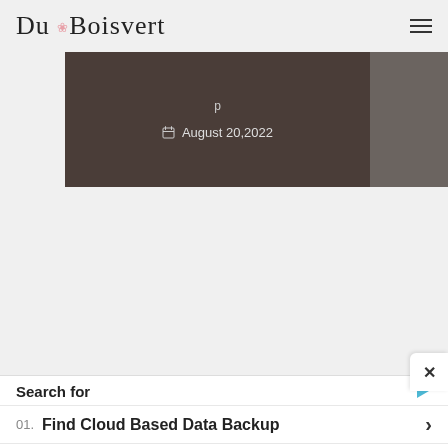Du Boisvert
[Figure (photo): Partial hero image with dark brown and gray background, showing a date overlay: August 20,2022]
August 20,2022
×
Search for
01. Find Cloud Based Data Backup
02. Top EHR Mental Health Software
Yahoo! Search | Sponsored